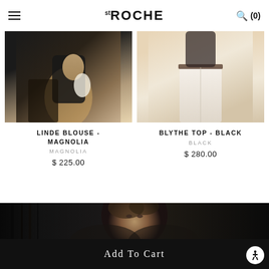st ROCHE
[Figure (photo): Product photo of Linde Blouse in Magnolia colorway, model wearing dark outfit against warm background]
LINDE BLOUSE - MAGNOLIA
MAGNOLIA
$ 225.00
[Figure (photo): Product photo of Blythe Top in Black colorway, model wearing white wide-leg trousers with black top]
BLYTHE TOP - BLACK
BLACK
$ 280.00
[Figure (photo): Black and white close-up portrait of female model with curly hair, dark background with vertical bars on left side]
Add To Cart